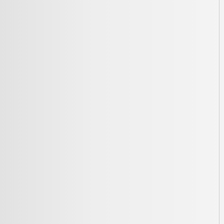even as some operations have been reduced due to low gas prices or Chesapeake taking on partners for some projects.
Oman Aims for 850,000 Oil Barrels a Day for 10 Years
(Bloomberg) -- Oman, the biggest oil producer in the Persian Gulf that isn't a